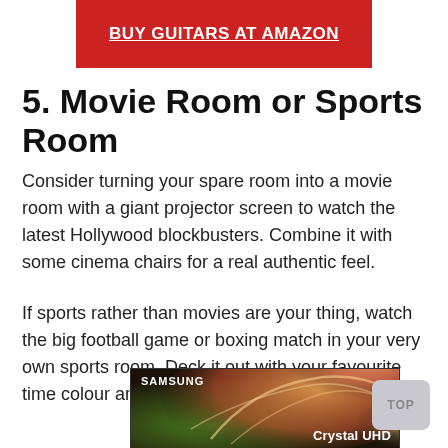[Figure (other): Red advertisement banner with white underlined bold text 'BUY GUITARS AT AMAZON']
5. Movie Room or Sports Room
Consider turning your spare room into a movie room with a giant projector screen to watch the latest Hollywood blockbusters. Combine it with some cinema chairs for a real authentic feel.
If sports rather than movies are your thing, watch the big football game or boxing match in your very own sports room. Deck it out with your favourite time colour and pictures and memorabilia.
[Figure (photo): Samsung Crystal UHD television display showing colorful abstract swirling design in orange, green, and pink tones. SAMSUNG logo in top left, 'Crystal UHD' text in bottom right.]